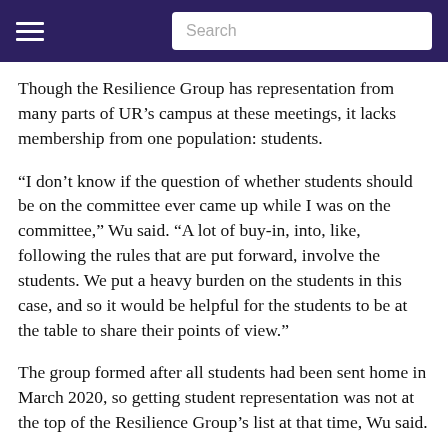Search
Though the Resilience Group has representation from many parts of UR’s campus at these meetings, it lacks membership from one population: students.
“I don’t know if the question of whether students should be on the committee ever came up while I was on the committee,” Wu said. “A lot of buy-in, into, like, following the rules that are put forward, involve the students. We put a heavy burden on the students in this case, and so it would be helpful for the students to be at the table to share their points of view.”
The group formed after all students had been sent home in March 2020, so getting student representation was not at the top of the Resilience Group’s list at that time, Wu said.